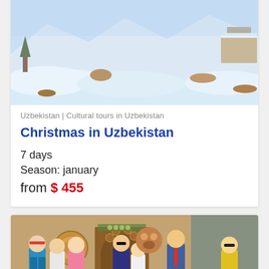[Figure (photo): Snowy landscape scene in Uzbekistan with snow-covered ground and buildings]
Uzbekistan | Cultural tours in Uzbekistan
Christmas in Uzbekistan
7 days
Season: january
from $ 455
[Figure (photo): Group of tourists standing in front of an ornate doorway in Uzbekistan]